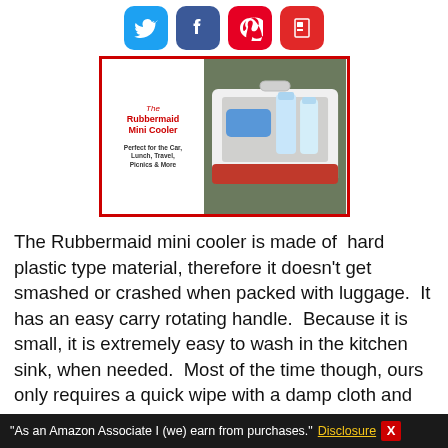[Figure (illustration): Social media sharing icons: Twitter (blue bird), Facebook (blue f), Pinterest (red P), Flipboard (red F) in rounded square buttons]
[Figure (photo): Product image showing The Rubbermaid Mini Cooler - a red and white cooler with text 'Perfect for the Car, Lunch, Travel, Picnics & More' on the left side, and a photo of the open cooler with bottles inside on the right]
The Rubbermaid mini cooler is made of hard plastic type material, therefore it doesn't get smashed or crashed when packed with luggage. It has an easy carry rotating handle. Because it is small, it is extremely easy to wash in the kitchen sink, when needed. Most of the time though, ours only requires a quick wipe with a damp cloth and we are all set to go for our next long drive.
We recently made an 11 hr. drive. When we arrived at our destination
"As an Amazon Associate I (we) earn from purchases." Disclosure X